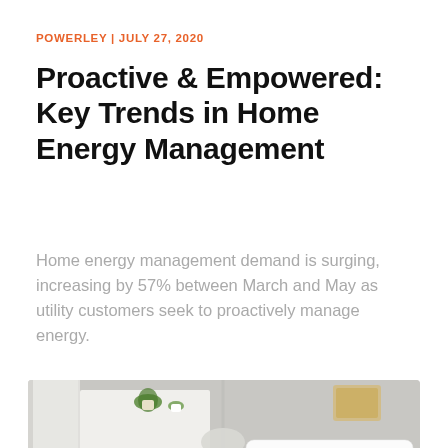POWERLEY | JULY 27, 2020
Proactive & Empowered: Key Trends in Home Energy Management
Home energy management demand is surging, increasing by 57% between March and May as utility customers seek to proactively manage energy.
[Figure (photo): Interior room photo showing a living space with a lamp, shelving with plants, curtains, and a notification bubble overlay reading 'You're trending over your Energy Budget!']